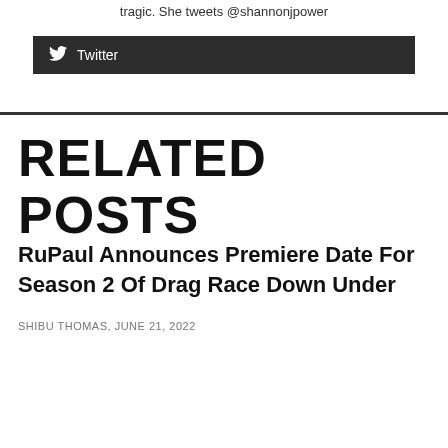tragic. She tweets @shannonjpower
[Figure (other): Twitter social media button (dark background with Twitter bird icon and 'Twitter' label)]
RELATED POSTS
RuPaul Announces Premiere Date For Season 2 Of Drag Race Down Under
SHIBU THOMAS, JUNE 21, 2022